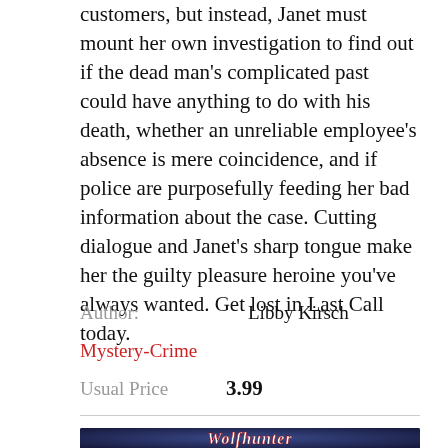customers, but instead, Janet must mount her own investigation to find out if the dead man's complicated past could have anything to do with his death, whether an unreliable employee's absence is mere coincidence, and if police are purposefully feeding her bad information about the case. Cutting dialogue and Janet's sharp tongue make her the guilty pleasure heroine you've always wanted. Get lost in Last Call today.
Author:   Libby Kirsch
Mystery-Crime
Usual Price   3.99
[Figure (photo): Bottom portion of a book cover with decorative gothic/horror style lettering on a dark blue textured background]